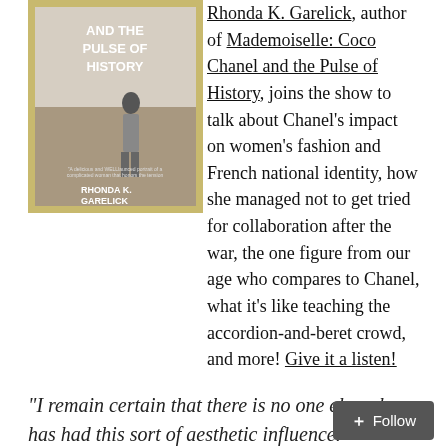[Figure (illustration): Book cover of 'Mademoiselle: Coco Chanel and the Pulse of History' by Rhonda K. Garelick, showing a woman walking on a beach in a vintage style black and white photo with gold border. Text on cover reads 'AND THE PULSE OF HISTORY' and 'RHONDA K. GARELICK']
Rhonda K. Garelick, author of Mademoiselle: Coco Chanel and the Pulse of History, joins the show to talk about Chanel's impact on women's fashion and French national identity, how she managed not to get tried for collaboration after the war, the one figure from our age who compares to Chanel, what it's like teaching the accordion-and-beret crowd, and more! Give it a listen!
“I remain certain that there is no one else who has had this sort of aesthetic influence.”
We also talk about Chanel’s pleasure in hiring falle